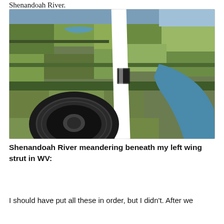Shenandoah River.
[Figure (photo): Aerial photograph taken from a small aircraft showing the Shenandoah River meandering through farmland in West Virginia. A white wing strut and landing gear wheel are visible in the foreground, with patchwork agricultural fields and tree lines visible below.]
Shenandoah River meandering beneath my left wing strut in WV:
I should have put all these in order, but I didn't. After we